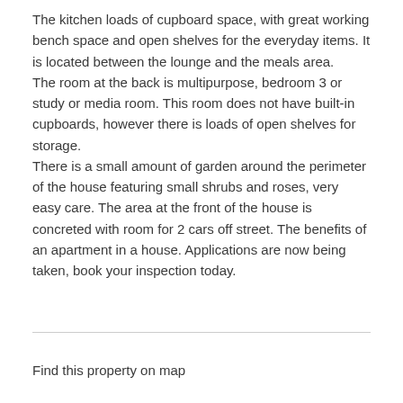The kitchen loads of cupboard space, with great working bench space and open shelves for the everyday items. It is located between the lounge and the meals area.
The room at the back is multipurpose, bedroom 3 or study or media room. This room does not have built-in cupboards, however there is loads of open shelves for storage.
There is a small amount of garden around the perimeter of the house featuring small shrubs and roses, very easy care. The area at the front of the house is concreted with room for 2 cars off street. The benefits of an apartment in a house. Applications are now being taken, book your inspection today.
Find this property on map